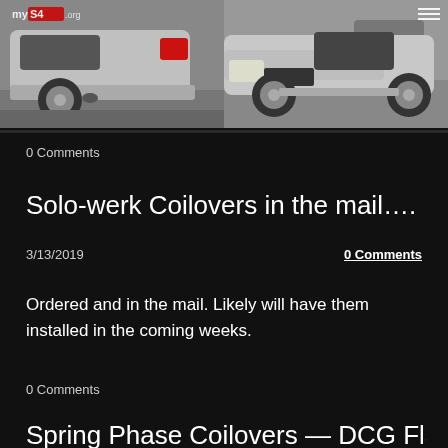[Figure (photo): Two photos of a silver Audi S4. Left photo shows rear three-quarter view of silver Audi S4 with mySS4.org watermark. Right photo shows front three-quarter view of silver Audi S4 in a parking lot.]
0 Comments
Solo-werk Coilovers in the mail….
3/13/2019
0 Comments
Ordered and in the mail. Likely will have them installed in the coming weeks.
0 Comments
Spring Phase Coilovers — DCG Flash Ne…